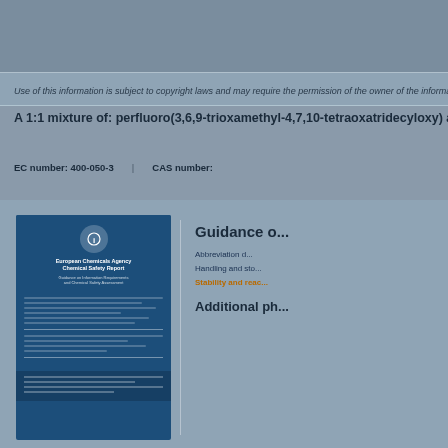Use of this information is subject to copyright laws and may require the permission of the owner of the information, as described in the ECHA Legal Notice.
A 1:1 mixture of: perfluoro(3,6,9-trioxamethyl-4,7,10-tetraoxatridecyloxy) and ...
EC number: 400-050-3    CAS number:
[Figure (illustration): Blue document cover thumbnail showing a European Chemicals Agency document with icon, title text, and body text lines]
Guidance o...
Abbreviation d...
Handling and sto...
Stability and reac...
Additional ph...